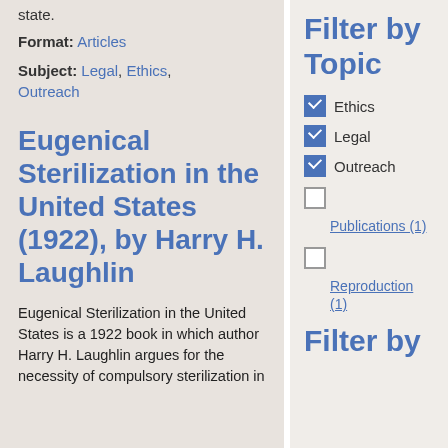state.
Format: Articles
Subject: Legal, Ethics, Outreach
Eugenical Sterilization in the United States (1922), by Harry H. Laughlin
Eugenical Sterilization in the United States is a 1922 book in which author Harry H. Laughlin argues for the necessity of compulsory sterilization in...
Filter by Topic
Ethics (checked)
Legal (checked)
Outreach (checked)
Publications (1) (unchecked)
Reproduction (1) (unchecked)
Filter by